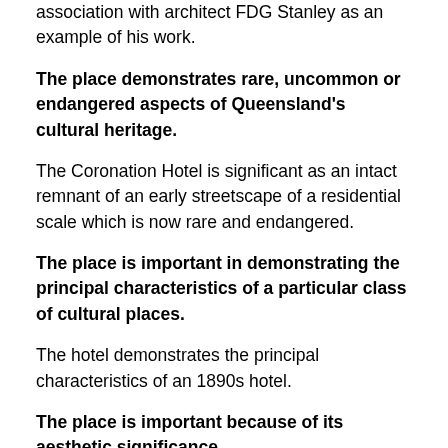association with architect FDG Stanley as an example of his work.
The place demonstrates rare, uncommon or endangered aspects of Queensland's cultural heritage.
The Coronation Hotel is significant as an intact remnant of an early streetscape of a residential scale which is now rare and endangered.
The place is important in demonstrating the principal characteristics of a particular class of cultural places.
The hotel demonstrates the principal characteristics of an 1890s hotel.
The place is important because of its aesthetic significance.